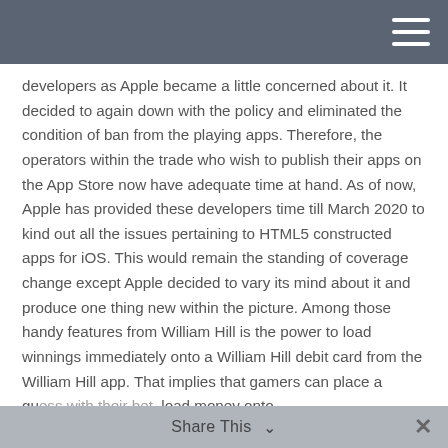developers as Apple became a little concerned about it. It decided to again down with the policy and eliminated the condition of ban from the playing apps. Therefore, the operators within the trade who wish to publish their apps on the App Store now have adequate time at hand. As of now, Apple has provided these developers time till March 2020 to kind out all the issues pertaining to HTML5 constructed apps for iOS. This would remain the standing of coverage change except Apple decided to vary its mind about it and produce one thing new within the picture. Among those handy features from William Hill is the power to load winnings immediately onto a William Hill debit card from the William Hill app. That implies that gamers can place a guess with their bet, load money onto
Share This